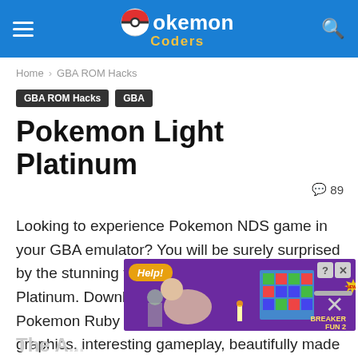Pokemon Coders
Home › GBA ROM Hacks
GBA ROM Hacks  GBA
Pokemon Light Platinum
💬 89
Looking to experience Pokemon NDS game in your GBA emulator? You will be surely surprised by the stunning feature of Pokemon Light Platinum. Download Pokemon Light Platinum, a Pokemon Ruby based rom hack full of cool new graphics, interesting gameplay, beautifully made music, events, items, new Pokemon and more.
[Figure (screenshot): Advertisement banner for Breaker Fun 2 game with Help! label and close button]
The A...